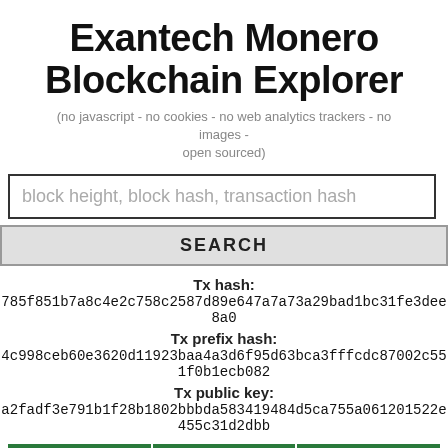Exantech Monero Blockchain Explorer
(no javascript - no cookies - no web analytics trackers - no images - open sourced)
block height, block hash, transaction hash
SEARCH
Tx hash:
785f851b7a8c4e2c758c2587d89e647a7a73a29bad1bc31fe3dee8a0
Tx prefix hash:
4c998ceb60e3620d11923baa4a3d6f95d63bca3fffcdc87002c551f0b1ecb082
Tx public key:
a2fadf3e791b1f28b1802bbbda583419484d5ca755a061201522e455c31d2dbb
| TIMESTAMP: | TIMESTAMP [UCT]: | AGE [Y:D:H:M:S]: |
| --- | --- | --- |
| 1605406971 | 2020-11-15 02:22:51 | 01:291:16:29:16 |